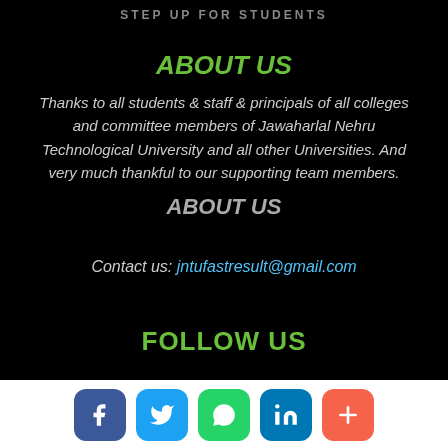STEP UP FOR STUDENTS
ABOUT US
Thanks to all students & staff & principals of all colleges and committee members of Jawaharlal Nehru Technological University and all other Universities. And very much thankful to our supporting team members.
ABOUT US
Contact us: jntufastresult@gmail.com
FOLLOW US
[Figure (infographic): Social media icons row: Facebook (blue rounded square), Twitter (light blue rounded square), WhatsApp (green rounded square), LinkedIn (blue rounded square), Plus/More (orange-red rounded square)]